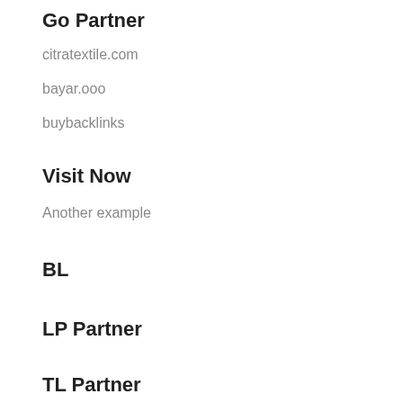Go Partner
citratextile.com
bayar.ooo
buybacklinks
Visit Now
Another example
BL
LP Partner
TL Partner